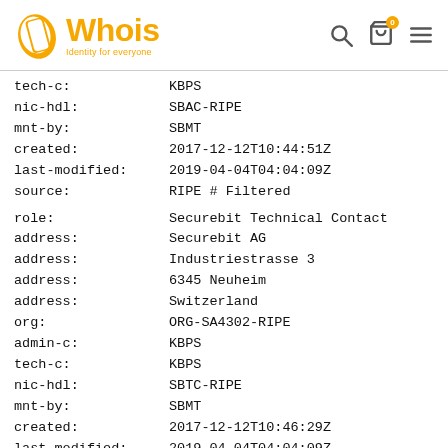Whois — Identity for everyone
tech-c: KBPS
nic-hdl: SBAC-RIPE
mnt-by: SBMT
created: 2017-12-12T10:44:51Z
last-modified: 2019-04-04T04:04:09Z
source: RIPE # Filtered
role: Securebit Technical Contact
address: Securebit AG
address: Industriestrasse 3
address: 6345 Neuheim
address: Switzerland
org: ORG-SA4302-RIPE
admin-c: KBPS
tech-c: KBPS
nic-hdl: SBTC-RIPE
mnt-by: SBMT
created: 2017-12-12T10:46:29Z
last-modified: 2019-04-04T04:04:09Z
source: RIPE # Filtered
% Information related to '194.50.94.0/24AS58057'
route: 194.50.94.0/24
descr: Securebit Route Germany